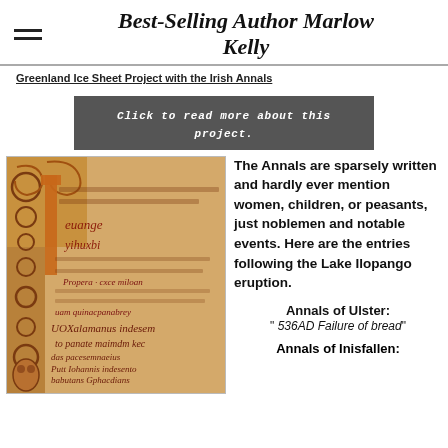Best-Selling Author Marlow Kelly
Greenland Ice Sheet Project with the Irish Annals
Click to read more about this project.
[Figure (photo): Illuminated manuscript page showing ornate Celtic script and decorative initial letter with intertwined knotwork in red, gold, and brown on parchment.]
The Annals are sparsely written and hardly ever mention women, children, or peasants, just noblemen and notable events. Here are the entries following the Lake Ilopango eruption.
Annals of Ulster: “ 536AD Failure of bread”
Annals of Inisfallen: